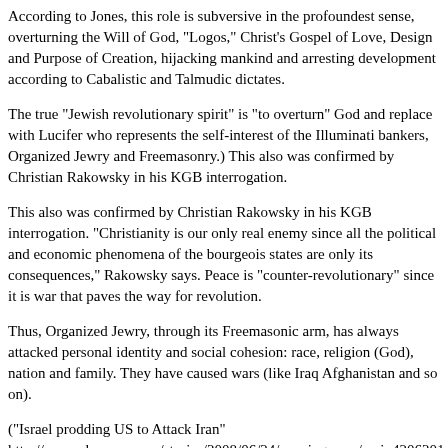According to Jones, this role is subversive in the profoundest sense, overturning the Will of God, "Logos," Christ's Gospel of Love, Design and Purpose of Creation, hijacking mankind and arresting development according to Cabalistic and Talmudic dictates.
The true "Jewish revolutionary spirit" is "to overturn" God and replace with Lucifer who represents the self-interest of the Illuminati bankers, Organized Jewry and Freemasonry.) This also was confirmed by Christian Rakowsky in his KGB interrogation.
This also was confirmed by Christian Rakowsky in his KGB interrogation. "Christianity is our only real enemy since all the political and economic phenomena of the bourgeois states are only its consequences," Rakowsky says. Peace is "counter-revolutionary" since it is war that paves the way for revolution.
Thus, Organized Jewry, through its Freemasonic arm, has always attacked personal identity and social cohesion: race, religion (God), nation and family. They have caused wars (like Iraq Afghanistan and so on).
("Israel prodding US to Attack Iran" http://www.cbsnews.com/stories/2008/06/24/eveningnews/main4206201.shtml)